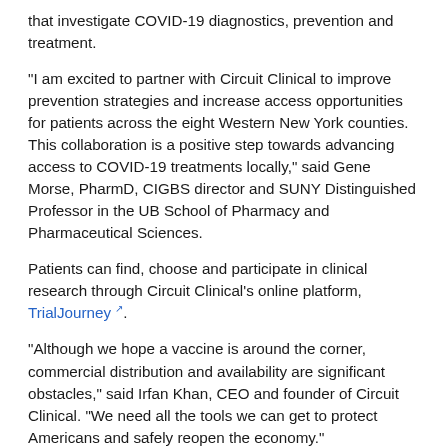that investigate COVID-19 diagnostics, prevention and treatment.
“I am excited to partner with Circuit Clinical to improve prevention strategies and increase access opportunities for patients across the eight Western New York counties. This collaboration is a positive step towards advancing access to COVID-19 treatments locally,” said Gene Morse, PharmD, CIGBS director and SUNY Distinguished Professor in the UB School of Pharmacy and Pharmaceutical Sciences.
Patients can find, choose and participate in clinical research through Circuit Clinical’s online platform, TrialJourney.
“Although we hope a vaccine is around the corner, commercial distribution and availability are significant obstacles,” said Irfan Khan, CEO and founder of Circuit Clinical. “We need all the tools we can get to protect Americans and safely reopen the economy.”
The CIGBS is an international hub that addresses global health challenges through pharmacological research, education and training, and drug and vaccine development. While the collaboration will begin with access to research occurring in